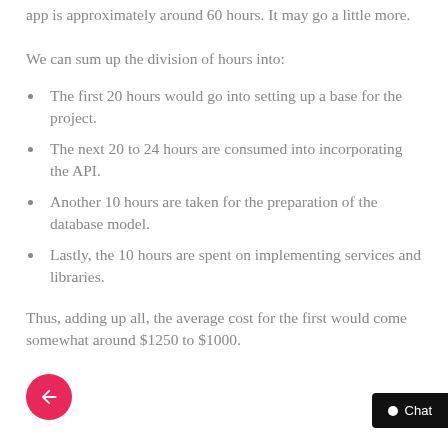app is approximately around 60 hours. It may go a little more.
We can sum up the division of hours into:
The first 20 hours would go into setting up a base for the project.
The next 20 to 24 hours are consumed into incorporating the API.
Another 10 hours are taken for the preparation of the database model.
Lastly, the 10 hours are spent on implementing services and libraries.
Thus, adding up all, the average cost for the first would come somewhat around $1250 to $1000.